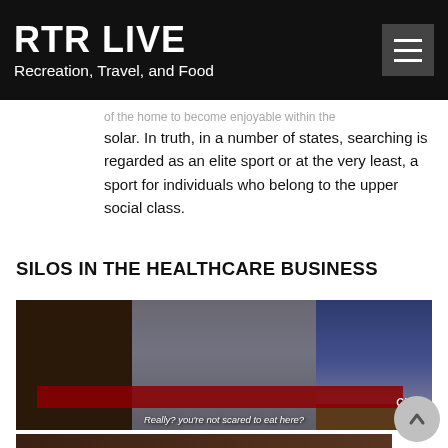RTR LIVE — Recreation, Travel, and Food
of the home to become enjoyable within the solar. In truth, in a number of states, searching is regarded as an elite sport or at the very least, a sport for individuals who belong to the upper social class.
SILOS IN THE HEALTHCARE BUSINESS
[Figure (photo): TV show screenshot showing people at a booth/table in what appears to be a community fair or event. Subtitle reads: 'Really? you're not scared to eat here?' with Citytv watermark.]
[Figure (photo): Partial TV show screenshot showing a dark scene, partially visible at bottom of page.]